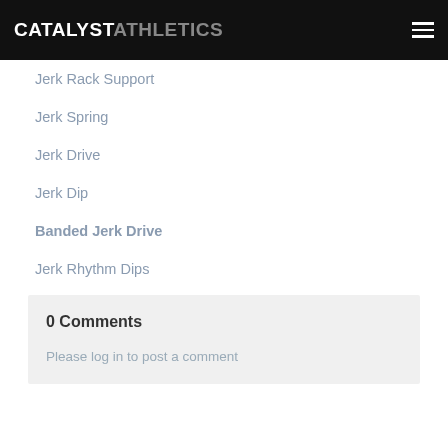CATALYST ATHLETICS
Jerk Rack Support
Jerk Spring
Jerk Drive
Jerk Dip
Banded Jerk Drive
Jerk Rhythm Dips
0 Comments
Please log in to post a comment